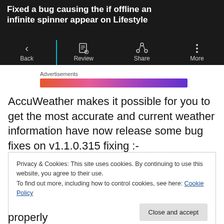[Figure (screenshot): Mobile app screenshot showing partial title 'Fixed a bug causing the if offline an infinite spinner appear on Lifestyle' with dark background navigation bar showing Back, Review, Share, More icons and a cyan vertical divider line]
Advertisements
[Figure (screenshot): Colorful gradient advertisement banner strip in orange to purple gradient]
AccuWeather makes it possible for you to get the most accurate and current weather information have now release some bug fixes on v1.1.0.315 fixing :-
Privacy & Cookies: This site uses cookies. By continuing to use this website, you agree to their use.
To find out more, including how to control cookies, see here: Cookie Policy
Close and accept
properly